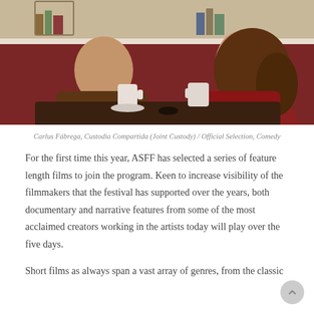[Figure (photo): Two people sitting across from each other at a cafe/restaurant table with mugs of coffee or tea. The man on the left wears a brown jacket and has a beard; the woman on the right wears a red floral dress with long wavy hair. Dark red booth seating is visible behind them.]
Carlus Fábrega, Custodia Compartida (Joint Custody) / Official Selection, Comedy
For the first time this year, ASFF has selected a series of feature length films to join the program. Keen to increase visibility of the filmmakers that the festival has supported over the years, both documentary and narrative features from some of the most acclaimed creators working in the artists today will play over the five days.
Short films as always span a vast array of genres, from the classic